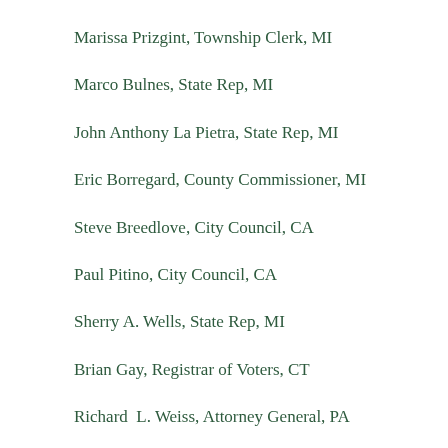Marissa Prizgint, Township Clerk, MI
Marco Bulnes, State Rep, MI
John Anthony La Pietra, State Rep, MI
Eric Borregard, County Commissioner, MI
Steve Breedlove, City Council, CA
Paul Pitino, City Council, CA
Sherry A. Wells, State Rep, MI
Brian Gay, Registrar of Voters, CT
Richard  L. Weiss, Attorney General, PA
Timothy Buckley, State Treasurer, RI